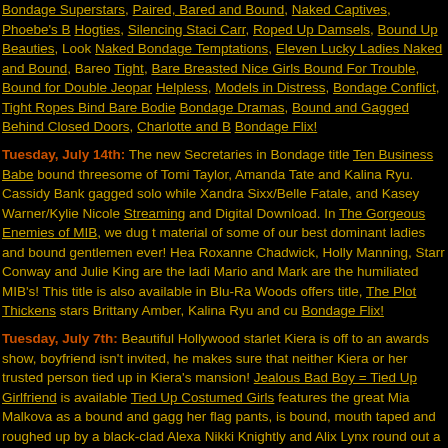Bondage Superstars, Paired, Bared and Bound, Naked Captives, Phoebe's B... Hogties, Silencing Staci Carr, Roped Up Damsels, Bound Up Beauties, Look... Naked Bondage Temptations, Eleven Lucky Ladies Naked and Bound, Bareo... Tight, Bare Breasted Nice Girls Bound For Trouble, Bound for Double Jeopar... Helpless, Models in Distress, Bondage Conflict, Tight Ropes Bind Bare Bodie... Bondage Dramas, Bound and Gagged Behind Closed Doors, Charlotte and B... Bondage Flix!
Tuesday, July 14th: The new Secretaries in Bondage title Ten Business Babe... bound threesome of Tomi Taylor, Amanda Tate and Kalina Ryu. Cassidy Bank... gagged solo while Xandra Sixx/Belle Fatale, and Kasey Warner/Kylie Nicole... Streaming and Digital Download. In The Gorgeous Enemies of MIB, we dug t... material of some of our best dominant ladies and bound gentlemen ever! Hea... Roxanne Chadwick, Holly Manning, Starr Conway and Julie King are the ladi... Mario and Mark are the humiliated MIB's! This title is also available in Blu-Ra... Woods offers title, The Plot Thickens stars Brittany Amber, Kalina Ryu and cu... Bondage Flix!
Tuesday, July 7th: Beautiful Hollywood starlet Kiera is off to an awards show,... boyfriend isn't invited, he makes sure that neither Kiera or her trusted person... tied up in Kiera's mansion! Jealous Bad Boy = Tied Up Girlfriend is available... Tied Up Costumed Girls features the great Mia Malkova as a bound and gagg... her flag pants, is bound, mouth taped and roughed up by a black-clad Alexa... Nikki Knightly and Alix Lynx round out a lovely array of bound and silenced fa... DVD, HD Streaming and Download. Five new titles at Bondage Flix!
Tuesday, June 30th: Two real life sisters tied up and gagged is an exciting pr... sisters are as pretty as Kalina and Mia Ryu you have something very special... gorgeous Asian ladies struggle both clothed and naked in five mouth-waterine... Bay, DVD, HD Streaming and Download. Make No Mistake Your Bound A...